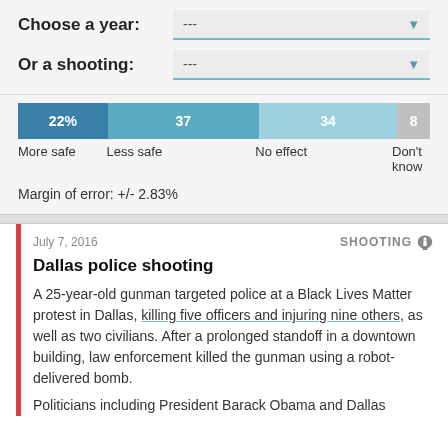Choose a year:
Or a shooting:
[Figure (stacked-bar-chart): Survey: More safe / Less safe / No effect / Don't know]
Margin of error: +/- 2.83%
July 7, 2016
SHOOTING
Dallas police shooting
A 25-year-old gunman targeted police at a Black Lives Matter protest in Dallas, killing five officers and injuring nine others, as well as two civilians. After a prolonged standoff in a downtown building, law enforcement killed the gunman using a robot-delivered bomb.
Politicians including President Barack Obama and Dallas